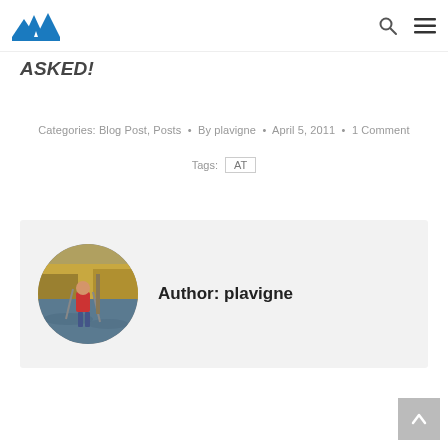Navigation header with logo and icons
ASKED!
Categories: Blog Post, Posts • By plavigne • April 5, 2011 • 1 Comment
Tags: AT
Author: plavigne
[Figure (photo): Circular avatar photo of author plavigne showing a hiker crossing a river with trekking poles, with yellow foliage in background]